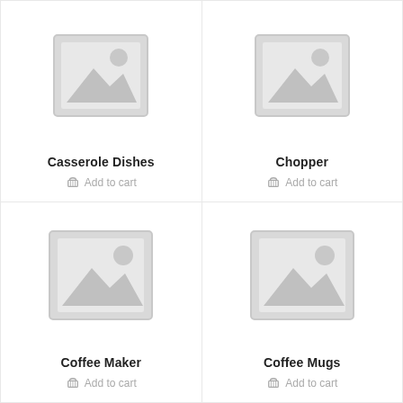[Figure (illustration): Placeholder product image for Casserole Dishes - grey image placeholder icon with mountain and sun]
Casserole Dishes
Add to cart
[Figure (illustration): Placeholder product image for Chopper - grey image placeholder icon with mountain and sun]
Chopper
Add to cart
[Figure (illustration): Placeholder product image for Coffee Maker - grey image placeholder icon with mountain and sun]
Coffee Maker
Add to cart
[Figure (illustration): Placeholder product image for Coffee Mugs - grey image placeholder icon with mountain and sun]
Coffee Mugs
Add to cart